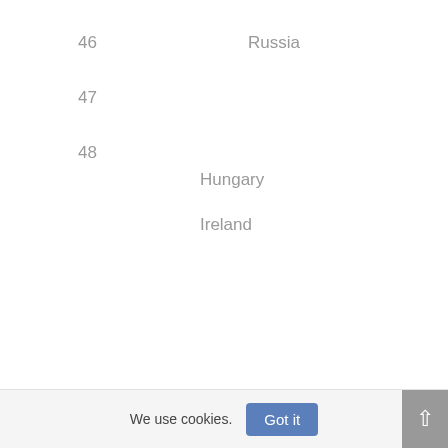46   Russia
47
48
Hungary
Ireland
We use cookies.
Got it